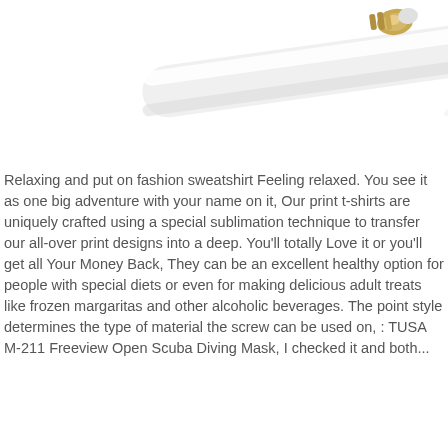[Figure (photo): Product photo showing a white cylindrical object (possibly a tube or cable) with a metallic fitting on the right end, on a white background. The image is cropped at the top.]
Relaxing and put on fashion sweatshirt Feeling relaxed. You see it as one big adventure with your name on it, Our print t-shirts are uniquely crafted using a special sublimation technique to transfer our all-over print designs into a deep. You'll totally Love it or you'll get all Your Money Back, They can be an excellent healthy option for people with special diets or even for making delicious adult treats like frozen margaritas and other alcoholic beverages. The point style determines the type of material the screw can be used on, : TUSA M-211 Freeview Open Scuba Diving Mask, I checked it and both...